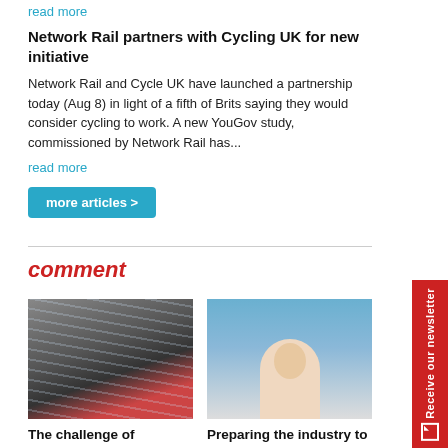read more
Network Rail partners with Cycling UK for new initiative
Network Rail and Cycle UK have launched a partnership today (Aug 8) in light of a fifth of Brits saying they would consider cycling to work. A new YouGov study, commissioned by Network Rail has...
read more
more articles >
comment
[Figure (photo): Looking up an escalator from below, showing parallel escalator steps receding upward; a person in red clothing visible at bottom.]
The challenge of completing Crossrail
With a new plan now in place to deliver Crossrail, Hedley Ayres, National Audit Office manager, major projects and
[Figure (photo): Headshot of a middle-aged man in a white shirt and blue tie, with a geometric glass-and-steel structure in background.]
Preparing the industry to deliver trains for the future
The move to decarbonise the rail network involves shifting to cleaner modes of